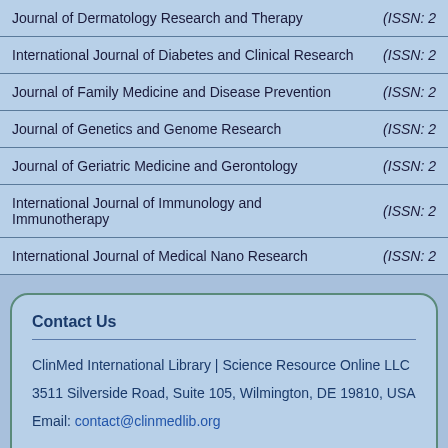| Journal Name | ISSN |
| --- | --- |
| Journal of Dermatology Research and Therapy | (ISSN: 2 |
| International Journal of Diabetes and Clinical Research | (ISSN: 2 |
| Journal of Family Medicine and Disease Prevention | (ISSN: 2 |
| Journal of Genetics and Genome Research | (ISSN: 2 |
| Journal of Geriatric Medicine and Gerontology | (ISSN: 2 |
| International Journal of Immunology and Immunotherapy | (ISSN: 2 |
| International Journal of Medical Nano Research | (ISSN: 2 |
Contact Us
ClinMed International Library | Science Resource Online LLC
3511 Silverside Road, Suite 105, Wilmington, DE 19810, USA
Email: contact@clinmedlib.org